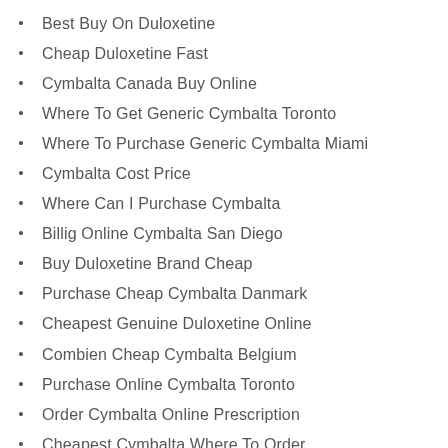Best Buy On Duloxetine
Cheap Duloxetine Fast
Cymbalta Canada Buy Online
Where To Get Generic Cymbalta Toronto
Where To Purchase Generic Cymbalta Miami
Cymbalta Cost Price
Where Can I Purchase Cymbalta
Billig Online Cymbalta San Diego
Buy Duloxetine Brand Cheap
Purchase Cheap Cymbalta Danmark
Cheapest Genuine Duloxetine Online
Combien Cheap Cymbalta Belgium
Purchase Online Cymbalta Toronto
Order Cymbalta Online Prescription
Cheapest Cymbalta Where To Order
Buy Legit Duloxetine Online